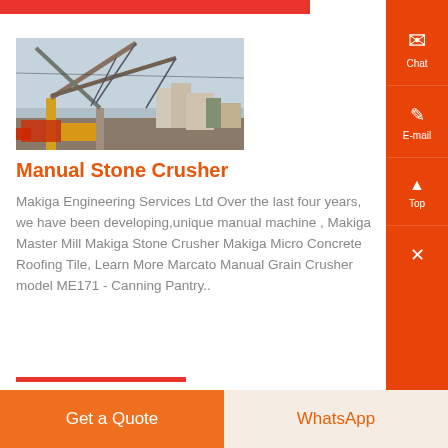[Figure (photo): Construction cranes and heavy machinery at a building site, with boom cranes against a cloudy sky]
Manual Stone Crusher
Makiga Engineering Services Ltd Over the last four years, we have been developing,unique manual machine , Makiga Master Mill Makiga Stone Crusher Makiga Micro Concrete Roofing Tile, Learn More Marcato Manual Grain Crusher model ME171 - Canning Pantry..